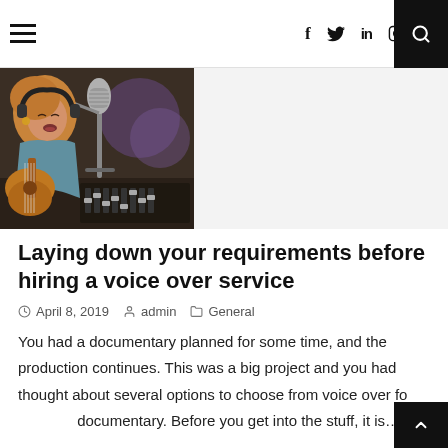≡  f  🐦  in  ⊙  ⊕  🔍
[Figure (photo): Woman with headphones singing into a studio microphone while playing acoustic guitar]
Laying down your requirements before hiring a voice over service
April 8, 2019   admin   General
You had a documentary planned for some time, and the production continues. This was a big project and you had thought about several options to choose from voice over for documentary. Before you get into the stuff, it is…